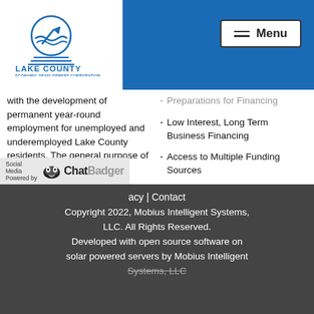[Figure (logo): Lake County Economic Development Corporation logo with circular emblem containing a mountain/wave graphic and upward arrow, text reads LAKE COUNTY ECONOMIC DEVELOPMENT CORPORATION]
Menu
with the development of permanent year-round employment for unemployed and underemployed Lake County residents. The general purpose of the Corporation is to assist in promoting the growth and development of business
Preparations for Financing
Low Interest, Long Term Business Financing
Access to Multiple Funding Sources
Loan Packaging for Multiple Sources of Financing
[Figure (logo): Social Media Powered by ChatBadger logo]
acy | Contact
Copyright 2022, Mobius Intelligent Systems, LLC. All Rights Reserved.
Developed with open source software on solar powered servers by Mobius Intelligent Systems, LLC